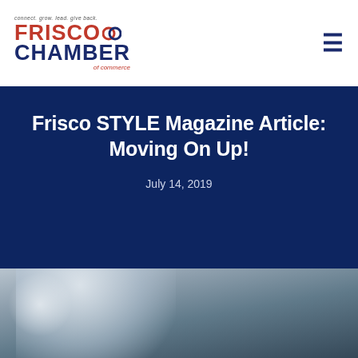[Figure (logo): Frisco Chamber of Commerce logo with tagline 'connect. grow. lead. give back.' and chain-link icon in red and navy]
Frisco STYLE Magazine Article: Moving On Up!
July 14, 2019
[Figure (photo): Partial blurred photo at bottom of page, appears to show a light-colored object on a dark background]